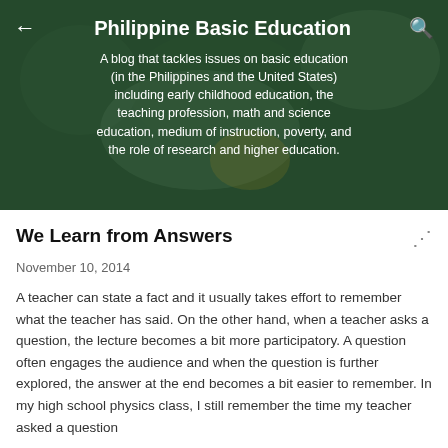[Figure (photo): Header background photo of a classroom scene with blurred children and green chalkboard, overlaid with dark semi-transparent tint]
Philippine Basic Education
A blog that tackles issues on basic education (in the Philippines and the United States) including early childhood education, the teaching profession, math and science education, medium of instruction, poverty, and the role of research and higher education.
We Learn from Answers
November 10, 2014
A teacher can state a fact and it usually takes effort to remember what the teacher has said. On the other hand, when a teacher asks a question, the lecture becomes a bit more participatory. A question often engages the audience and when the question is further explored, the answer at the end becomes a bit easier to remember. In my high school physics class, I still remember the time my teacher asked a question